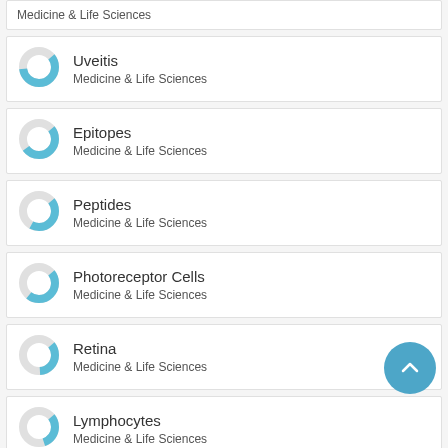Uveitis
Medicine & Life Sciences
Epitopes
Medicine & Life Sciences
Peptides
Medicine & Life Sciences
Photoreceptor Cells
Medicine & Life Sciences
Retina
Medicine & Life Sciences
Lymphocytes
Medicine & Life Sciences
Extracellu... Adipocytes
Medicine & Life Sciences